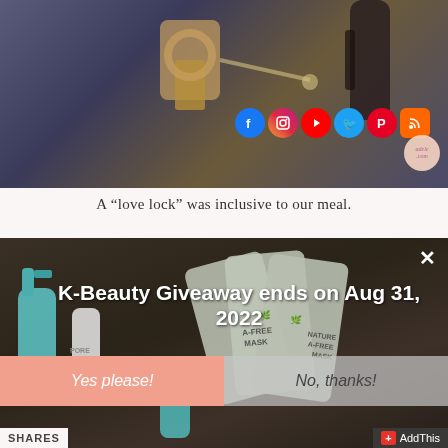[Figure (photo): Photo of a love lock (padlock) with keys on a dark surface, with social media icons overlaid (Facebook, Instagram, YouTube, Twitter, Pinterest, RSS) and a website logo]
A “love lock” was inclusive to our meal.
[Figure (photo): K-Beauty product giveaway popup modal showing skincare products including a teal spray bottle, face masks labeled 'NATURE A-FREE MASK', on a dark background with title text 'K-Beauty Giveaway ends on Aug 31, 2022' and two buttons: 'Yes please!' and 'No, thanks!']